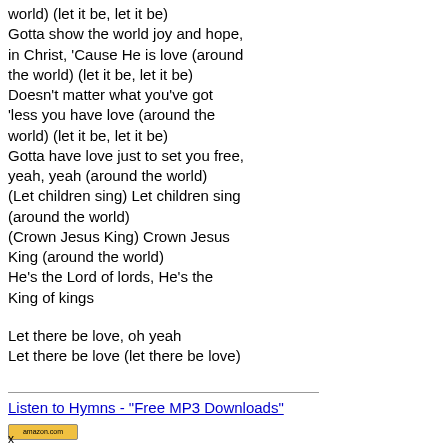world) (let it be, let it be)
Gotta show the world joy and hope, in Christ, 'Cause He is love (around the world) (let it be, let it be)
Doesn't matter what you've got 'less you have love (around the world) (let it be, let it be)
Gotta have love just to set you free, yeah, yeah (around the world)
(Let children sing) Let children sing (around the world)
(Crown Jesus King) Crown Jesus King (around the world)
He's the Lord of lords, He's the King of kings
Let there be love, oh yeah
Let there be love (let there be love)
Listen to Hymns - "Free MP3 Downloads"
x